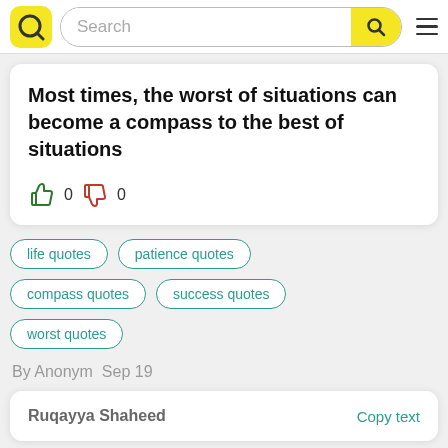Search
Most times, the worst of situations can become a compass to the best of situations
👍 0 👎 0
life quotes
patience quotes
compass quotes
success quotes
worst quotes
By Anonym  Sep 19
Ruqayya Shaheed   Copy text